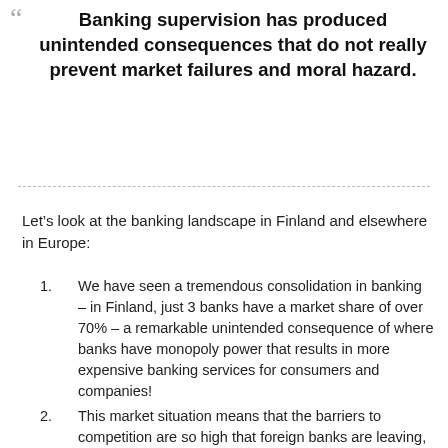Banking supervision has produced unintended consequences that do not really prevent market failures and moral hazard.
Let’s look at the banking landscape in Finland and elsewhere in Europe:
We have seen a tremendous consolidation in banking – in Finland, just 3 banks have a market share of over 70% – a remarkable unintended consequence of where banks have monopoly power that results in more expensive banking services for consumers and companies!
This market situation means that the barriers to competition are so high that foreign banks are leaving, or trying to, and few new banks or new